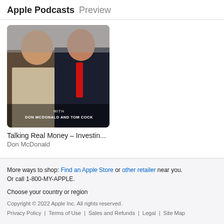Apple Podcasts Preview
[Figure (photo): Podcast cover art showing two men, with text 'WITH DON MCDONALD AND TOM COCK' at the bottom]
Talking Real Money – Investin...
Don McDonald
More ways to shop: Find an Apple Store or other retailer near you. Or call 1-800-MY-APPLE.
Choose your country or region
Copyright © 2022 Apple Inc. All rights reserved. Privacy Policy | Terms of Use | Sales and Refunds | Legal | Site Map